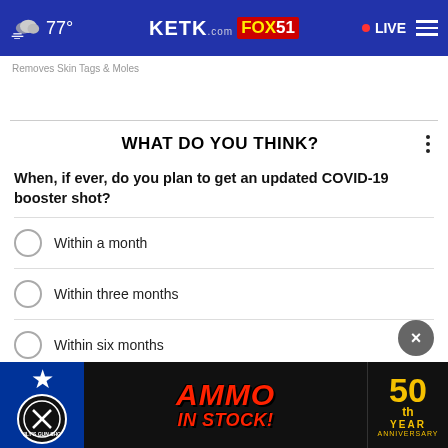77° KETK.com FOX51 • LIVE
Removes Skin Tags & Moles
WHAT DO YOU THINK?
When, if ever, do you plan to get an updated COVID-19 booster shot?
Within a month
Within three months
Within six months
Longer than six months from now
I don't ever plan to get one
[Figure (other): Advertisement banner for Wily's Gun Shop - AMMO IN STOCK! 50th Year Anniversary]